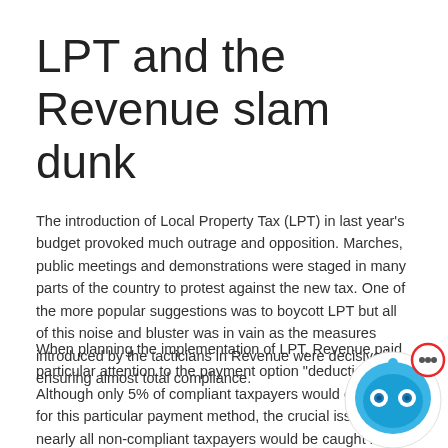LPT and the Revenue slam dunk
The introduction of Local Property Tax (LPT) in last year's budget provoked much outrage and opposition. Marches, public meetings and demonstrations were staged in many parts of the country to protest against the new tax. One of the more popular suggestions was to boycott LPT but all of this noise and bluster was in vain as the measures introduced by the tacticians in Revenue were decisive in ensuring almost total compliance.
When planning the implementation of LPT, Revenue paid particular attention to the payment option "deduction a... Although only 5% of compliant taxpayers would eventu... for this particular payment method, the crucial issue wa... nearly all non-compliant taxpayers would be caught in this net. (Deduction at source) is the most common form of tax deduction fo...